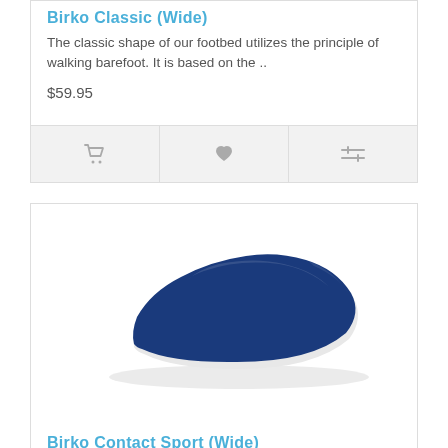Birko Classic (Wide)
The classic shape of our footbed utilizes the principle of walking barefoot. It is based on the ..
$59.95
[Figure (photo): Blue shoe insole / footbed product photo on white background]
Birko Contact Sport (Wide)
The semi-rigid full length support of the BirkoContact Sport Footbed